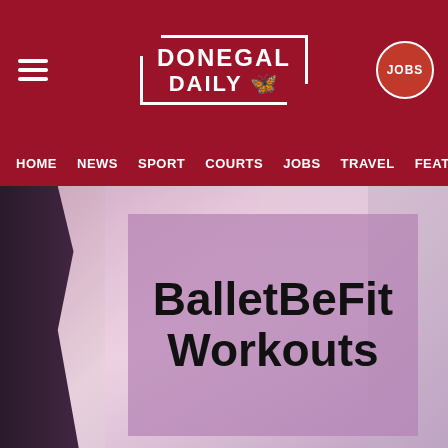Donegal Daily — HOME | NEWS | SPORT | COURTS | JOBS | TRAVEL | FEATU
[Figure (photo): Ballet fitness class with women dancing in a bright studio, pink/purple tinted overlay]
BalletBeFit Workouts